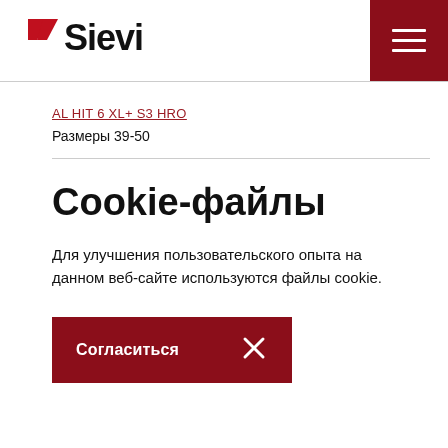Sievi logo and navigation
AL HIT 6 XL+ S3 HRO
Размеры 39-50
Cookie-файлы
Для улучшения пользовательского опыта на данном веб-сайте используются файлы cookie.
Согласиться